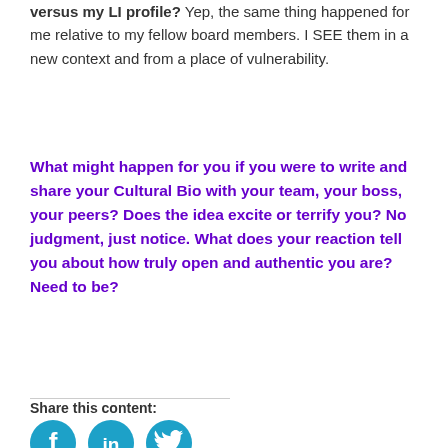versus my LI profile? Yep, the same thing happened for me relative to my fellow board members. I SEE them in a new context and from a place of vulnerability.
What might happen for you if you were to write and share your Cultural Bio with your team, your boss, your peers? Does the idea excite or terrify you? No judgment, just notice. What does your reaction tell you about how truly open and authentic you are? Need to be?
Share this content:
[Figure (other): Social media sharing icons: Facebook, LinkedIn, Twitter]